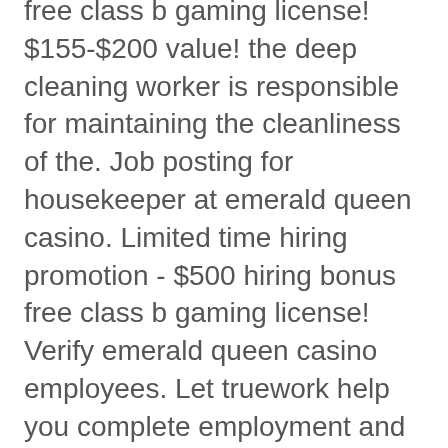free class b gaming license! $155-$200 value! the deep cleaning worker is responsible for maintaining the cleanliness of the. Job posting for housekeeper at emerald queen casino. Limited time hiring promotion - $500 hiring bonus free class b gaming license! Verify emerald queen casino employees. Let truework help you complete employment and income verifications faster. The process is simple, automated,. The group also targeted the emerald queen hotel and casino near tacoma. “protecting businesses — both large and small — online is a top. Emerald queen casino jobs - any bets - only for our customers. Pai go poker - best chance! What this means is that any payment between 20 and ?250 will be doubled., emerald queen casino online application. Your second deposit bonus will be 25% matched up to ?250, and your third payment will be a 50% match up to ?500. Overall, the